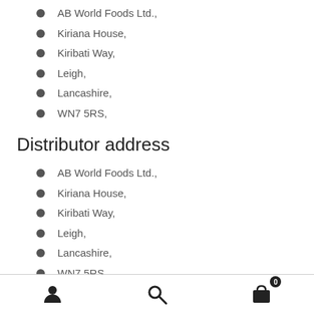AB World Foods Ltd.,
Kiriana House,
Kiribati Way,
Leigh,
Lancashire,
WN7 5RS,
Distributor address
AB World Foods Ltd.,
Kiriana House,
Kiribati Way,
Leigh,
Lancashire,
WN7 5RS,
user icon | search icon | cart icon (0)